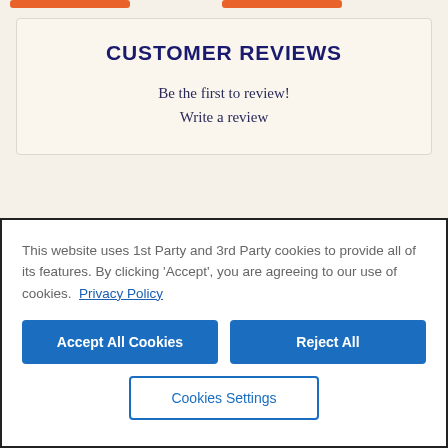CUSTOMER REVIEWS
Be the first to review!
Write a review
This website uses 1st Party and 3rd Party cookies to provide all of its features. By clicking 'Accept', you are agreeing to our use of cookies. Privacy Policy
Accept All Cookies
Reject All
Cookies Settings